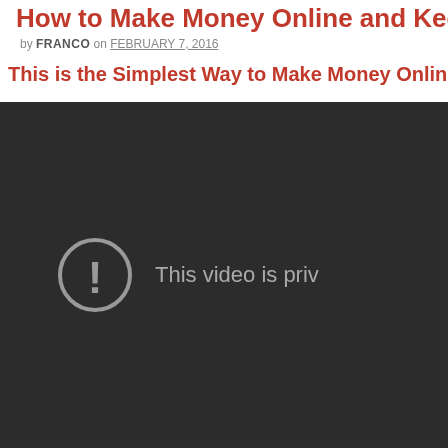How to Make Money Online and Keep it G…
by FRANCO on FEBRUARY 7, 2016
This is the Simplest Way to Make Money Online w…
[Figure (screenshot): Embedded YouTube video player showing 'This video is private' error message with an exclamation mark icon on a dark background.]